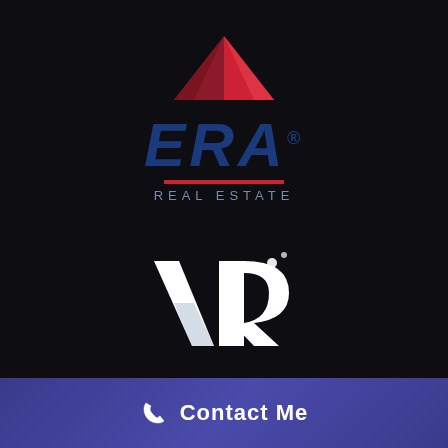[Figure (logo): ERA Real Estate logo: red rooftop/house shape above the text 'ERA' in bold dark blue italic with trademark symbol, a red underline bar, and 'REAL ESTATE' in spaced gray letters below]
[Figure (logo): VR Platform Powered logo: white stylized 'VR' lettermark with two small white dots (bubbles) above right, a faint teal/grey reflection/shadow on the V shape, with 'PLATFORM POWERED' in white spaced capitals below]
Contact Me